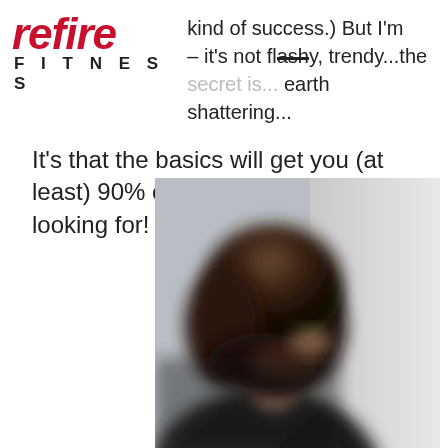refire FITNESS
kind of success.) But I'm – it's not flashy, trendy...the secret is... earth shattering...
It's that the basics will get you (at least) 90% of the results you are looking for!
[Figure (photo): Blurred close-up photo of a person with dark hair, partially obscured, with a light grey background on the right side.]